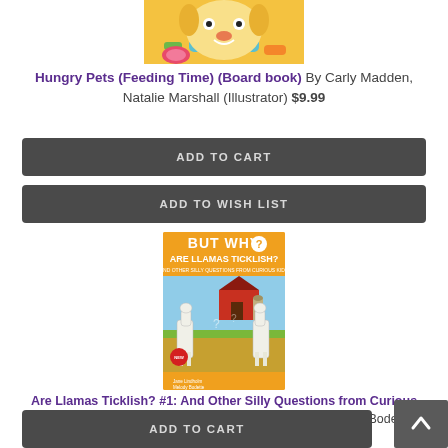[Figure (photo): Partial view of a colorful board book cover with illustrated character at top]
Hungry Pets (Feeding Time) (Board book) By Carly Madden, Natalie Marshall (Illustrator) $9.99
ADD TO CART
ADD TO WISH LIST
[Figure (photo): Cover of 'But Why? Are Llamas Ticklish? And Other Silly Questions from Curious Kids' featuring two illustrated llamas in front of a red barn on an orange background]
Are Llamas Ticklish? #1: And Other Silly Questions from Curious Kids (But Why #1) (Paperback) By Jane Lindholm, Melody Bodette, Neil Swaab (Illustrator) $9.99
ADD TO CART